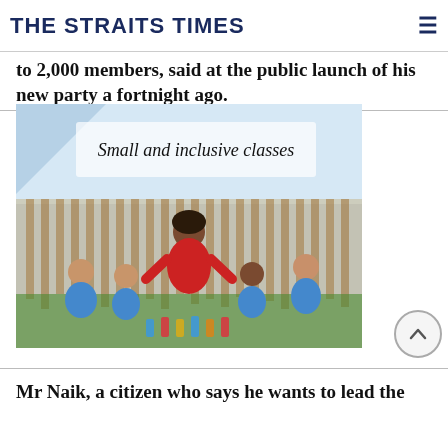THE STRAITS TIMES
to 2,000 members, said at the public launch of his new party a fortnight ago.
[Figure (photo): Advertisement image showing a teacher in red dress sitting with four young children in blue uniforms on a grass area, with text 'Small and inclusive classes' overlaid at the top on a light blue background.]
Mr Naik, a citizen who says he wants to lead the